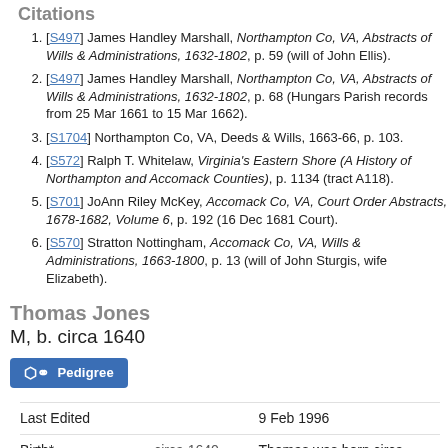Citations
[S497] James Handley Marshall, Northampton Co, VA, Abstracts of Wills & Administrations, 1632-1802, p. 59 (will of John Ellis).
[S497] James Handley Marshall, Northampton Co, VA, Abstracts of Wills & Administrations, 1632-1802, p. 68 (Hungars Parish records from 25 Mar 1661 to 15 Mar 1662).
[S1704] Northampton Co, VA, Deeds & Wills, 1663-66, p. 103.
[S572] Ralph T. Whitelaw, Virginia's Eastern Shore (A History of Northampton and Accomack Counties), p. 1134 (tract A118).
[S701] JoAnn Riley McKey, Accomack Co, VA, Court Order Abstracts, 1678-1682, Volume 6, p. 192 (16 Dec 1681 Court).
[S570] Stratton Nottingham, Accomack Co, VA, Wills & Administrations, 1663-1800, p. 13 (will of John Sturgis, wife Elizabeth).
Thomas Jones
M, b. circa 1640
Pedigree
|  |  |  |
| --- | --- | --- |
| Last Edited |  | 9 Feb 1996 |
| Birth* | circa 1640 | Thomas was born circa 1640. |
| Marriage* | after 1684 | He married Elizabeth Bundick, daughter of |